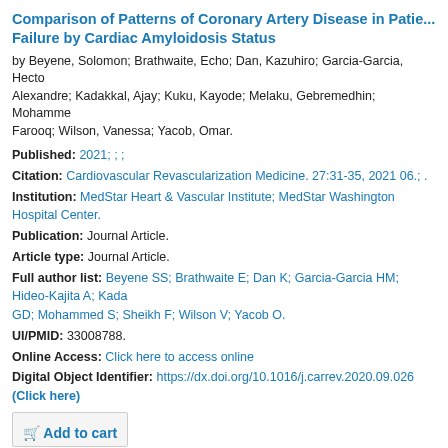Comparison of Patterns of Coronary Artery Disease in Patients with Heart Failure by Cardiac Amyloidosis Status
by Beyene, Solomon; Brathwaite, Echo; Dan, Kazuhiro; Garcia-Garcia, Hector; Alexandre; Kadakkal, Ajay; Kuku, Kayode; Melaku, Gebremedhin; Mohammed; Farooq; Wilson, Vanessa; Yacob, Omar.
Published: 2021; ; ;
Citation: Cardiovascular Revascularization Medicine. 27:31-35, 2021 06.; .
Institution: MedStar Heart & Vascular Institute; MedStar Washington Hospital Center.
Publication: Journal Article.
Article type: Journal Article.
Full author list: Beyene SS; Brathwaite E; Dan K; Garcia-Garcia HM; Hideo-Kajita A; Kadakkal GD; Mohammed S; Sheikh F; Wilson V; Yacob O.
UI/PMID: 33008788.
Online Access: Click here to access online
Digital Object Identifier: https://dx.doi.org/10.1016/j.carrev.2020.09.026 (Click here)
Add to cart
Comprehensive assessment of coronary computed tomography by using Leaman and Leiden score in overweight and obese
by Ali, Laith; Butt, Nausharwan; Garcia-Garcia, Hector M; Hideo-Kajita, Alexandre; Gebremedhin; Parajuli, Sabin; Weissman, Gaby; Yacob, Omar.
Published: 2020; ; ;